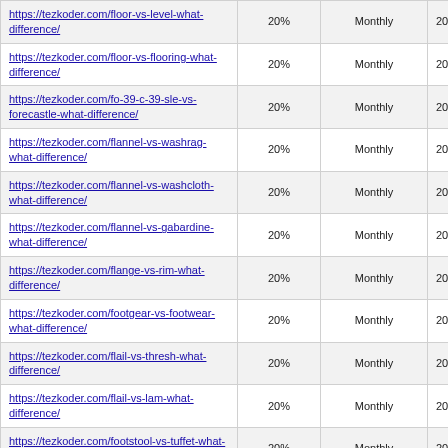| https://tezkoder.com/floor-vs-level-what-difference/ | 20% | Monthly | 2022-01-30 04:00 |
| https://tezkoder.com/floor-vs-flooring-what-difference/ | 20% | Monthly | 2022-01-30 03:00 |
| https://tezkoder.com/fo-39-c-39-sle-vs-forecastle-what-difference/ | 20% | Monthly | 2022-01-30 02:00 |
| https://tezkoder.com/flannel-vs-washrag-what-difference/ | 20% | Monthly | 2022-01-30 01:00 |
| https://tezkoder.com/flannel-vs-washcloth-what-difference/ | 20% | Monthly | 2022-01-30 00:00 |
| https://tezkoder.com/flannel-vs-gabardine-what-difference/ | 20% | Monthly | 2022-01-29 23:00 |
| https://tezkoder.com/flange-vs-rim-what-difference/ | 20% | Monthly | 2022-01-29 22:00 |
| https://tezkoder.com/footgear-vs-footwear-what-difference/ | 20% | Monthly | 2022-01-29 21:00 |
| https://tezkoder.com/flail-vs-thresh-what-difference/ | 20% | Monthly | 2022-01-29 20:00 |
| https://tezkoder.com/flail-vs-lam-what-difference/ | 20% | Monthly | 2022-01-29 19:00 |
| https://tezkoder.com/footstool-vs-tuffet-what-difference/ | 20% | Monthly | 2022-01-29 18:00 |
| https://tezkoder.com/footstool-vs-ottoman-what-difference/ | 20% | Monthly | 2022-01-29 17:00 |
| https://tezkoder.com/footrest-vs-footstool-what-difference/ | 20% | Monthly | 2022-01-29 16:00 |